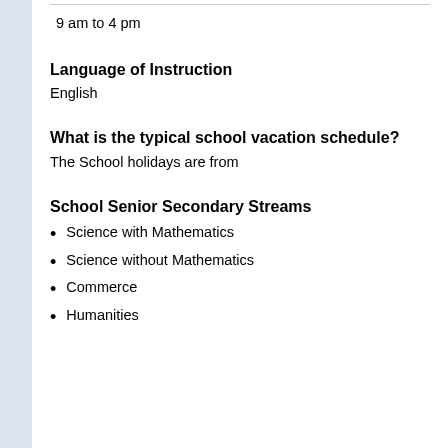9 am to 4 pm
Language of Instruction
English
What is the typical school vacation schedule?
The School holidays are from
School Senior Secondary Streams
Science with Mathematics
Science without Mathematics
Commerce
Humanities